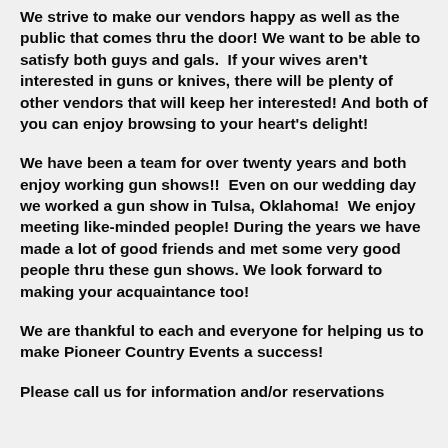We strive to make our vendors happy as well as the public that comes thru the door! We want to be able to satisfy both guys and gals. If your wives aren't interested in guns or knives, there will be plenty of other vendors that will keep her interested! And both of you can enjoy browsing to your heart's delight!
We have been a team for over twenty years and both enjoy working gun shows!! Even on our wedding day we worked a gun show in Tulsa, Oklahoma! We enjoy meeting like-minded people! During the years we have made a lot of good friends and met some very good people thru these gun shows. We look forward to making your acquaintance too!
We are thankful to each and everyone for helping us to make Pioneer Country Events a success!
Please call us for information and/or reservations